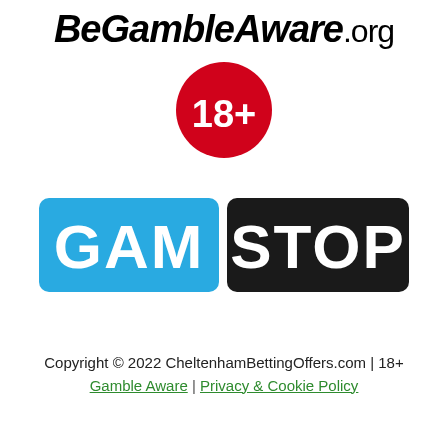[Figure (logo): BeGambleAware.org logo with bold stylized text]
[Figure (logo): 18+ age restriction badge, red circle with white text]
[Figure (logo): GamStop logo with blue GAM block and black STOP block in white bold text]
Copyright © 2022 CheltenhamBettingOffers.com | 18+
Gamble Aware | Privacy & Cookie Policy